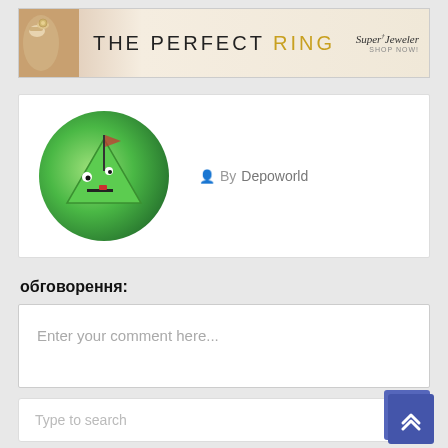[Figure (screenshot): Banner advertisement for SuperJeweler showing 'THE PERFECT RING' text with a hand wearing a ring on the left and SuperJeweler logo on the right]
[Figure (photo): Profile card showing a green circular avatar with a cartoon character (green triangle with eyes and a mouth) and 'By Depoworld' author credit]
обговорення:
[Figure (screenshot): Comment input box with placeholder text 'Enter your comment here...']
[Figure (screenshot): Search box with placeholder 'Type to search' and a blue scroll-to-top button with chevron icon]